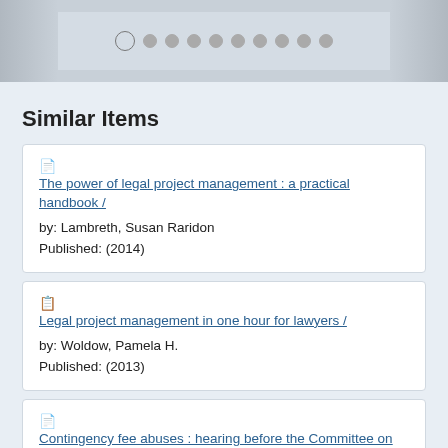[Figure (other): Carousel navigation dots with left/right thumbnail panels]
Similar Items
The power of legal project management : a practical handbook / by: Lambreth, Susan Raridon Published: (2014)
Legal project management in one hour for lawyers / by: Woldow, Pamela H. Published: (2013)
Contingency fee abuses : hearing before the Committee on the Judiciary, United States Senate, One Hundred Fourth Congress, first session on examining certain contingency fee abuses and their effect on the tort system, November 1995. Published: (1997)